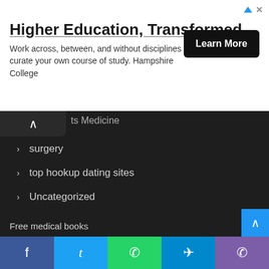[Figure (screenshot): Advertisement banner for Hampshire College: 'Higher Education, Transformed' with Learn More button]
ts Medicine
surgery
top hookup dating sites
Uncategorized
USMLE
USMLE STEP 1
USMLE STEP 2
USMLE STEP 3
Free medical books